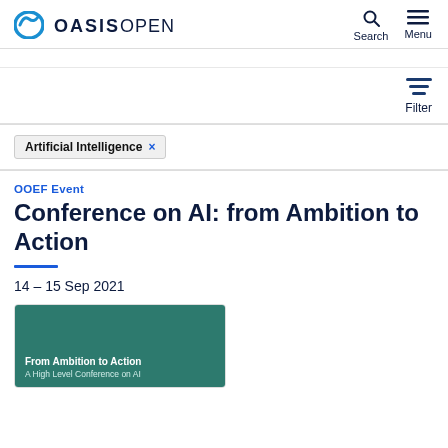OASIS OPEN — Search, Menu
Filter
Artificial Intelligence ×
OOEF Event
Conference on AI: from Ambition to Action
14 – 15 Sep 2021
[Figure (illustration): Teal/green conference card with white bold text reading 'From Ambition to Action' and subtitle 'A High Level Conference on AI']